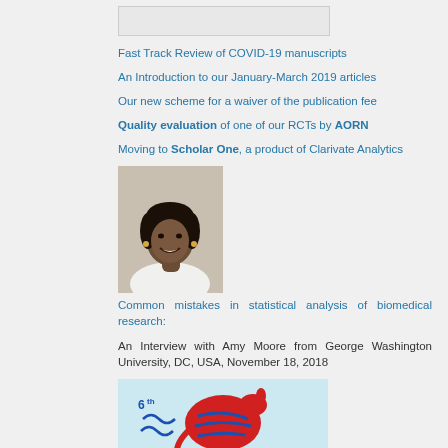[Figure (other): Top placeholder image/banner]
Fast Track Review of COVID-19 manuscripts
An Introduction to our January-March 2019 articles
Our new scheme for a waiver of the publication fee
Quality evaluation of one of our RCTs by AORN
Moving to Scholar One, a product of Clarivate Analytics
[Figure (photo): Portrait photo of a woman smiling, wearing white, with short hair]
Common mistakes in statistical analysis of biomedical research:
An Interview with Amy Moore from George Washington University, DC, USA, November 18, 2018
[Figure (logo): 6th WCRI 2019 conference logo with a stylized kangaroo in red and blue on light blue background]